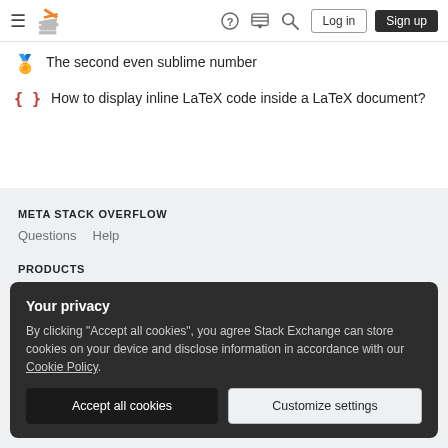Stack Overflow navigation bar with hamburger menu, logo, help, chat, search, Log in, Sign up
The second even sublime number
How to display inline LaTeX code inside a LaTeX document?
META STACK OVERFLOW
Questions   Help
PRODUCTS
Teams   Advertising   Collectives   Talent
COMPANY
Your privacy
By clicking "Accept all cookies", you agree Stack Exchange can store cookies on your device and disclose information in accordance with our Cookie Policy.
Accept all cookies   Customize settings